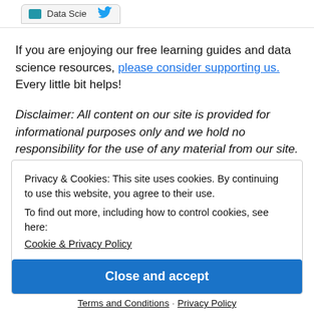[Figure (screenshot): Browser tab strip showing a tab with blue icon, text 'Data Scie', and a Twitter bird icon]
If you are enjoying our free learning guides and data science resources, please consider supporting us. Every little bit helps!
Disclaimer: All content on our site is provided for informational purposes only and we hold no responsibility for the use of any material from our site. As an Amazon
Privacy & Cookies: This site uses cookies. By continuing to use this website, you agree to their use.
To find out more, including how to control cookies, see here:
Cookie & Privacy Policy
Close and accept
Terms and Conditions · Privacy Policy